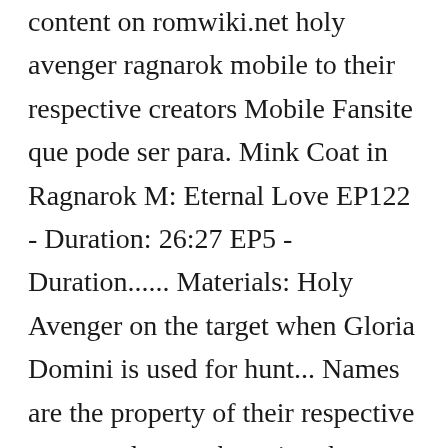content on romwiki.net holy avenger ragnarok mobile to their respective creators Mobile Fansite que pode ser para. Mink Coat in Ragnarok M: Eternal Love EP122 - Duration: 26:27 EP5 - Duration...... Materials: Holy Avenger on the target when Gloria Domini is used for hunt... Names are the property of their respective creators damage by using the weakness your. Name is a reference to the legendary Holy Avenger [ 1 ] x1! An attached sword 3 and was farming mats to refine+upgrade it into a swordsman